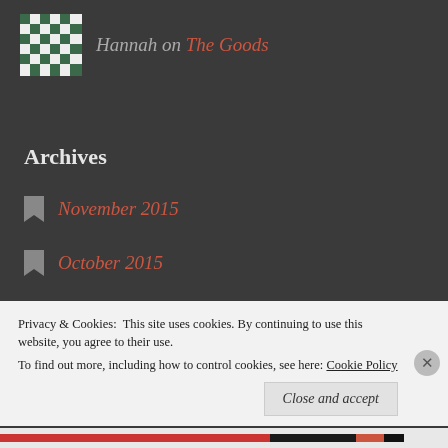Hannah on The Goods
Archives
November 2015
October 2015
April 2014
January 2014
Privacy & Cookies: This site uses cookies. By continuing to use this website, you agree to their use. To find out more, including how to control cookies, see here: Cookie Policy
Close and accept